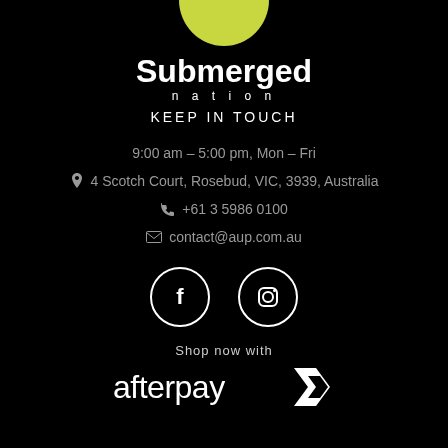[Figure (logo): Submerged Nation logo — yellow-green semicircle/oval above white text 'Submerged' large and 'nation' spaced below]
Submerged nation
KEEP IN TOUCH
9:00 am – 5:00 pm, Mon – Fri
4 Scotch Court, Rosebud, VIC, 3939, Australia
+61 3 5986 0100
contact@aup.com.au
[Figure (logo): Two white circle icons: Facebook (f) and Instagram (camera) icons in circular outlines]
Shop now with
[Figure (logo): Afterpay logo in white — 'afterpay' text followed by a stylized chevron/arrow mark]